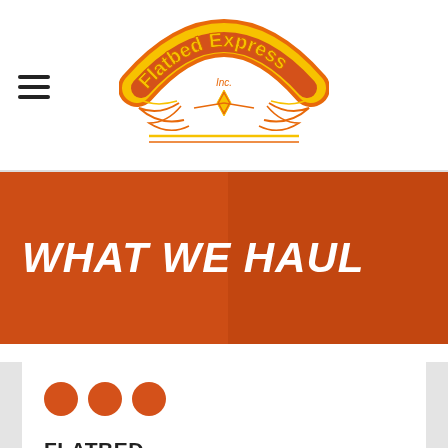[Figure (logo): Flatbed Express Inc. company logo with yellow and orange text and decorative wings/plant motif]
WHAT WE HAUL
[Figure (infographic): Three orange circles/dots decorative element]
FLATBED HAULING
Flatbed Trucking serves the needs of customers transporting special equipment or material that create loads which are wide, over